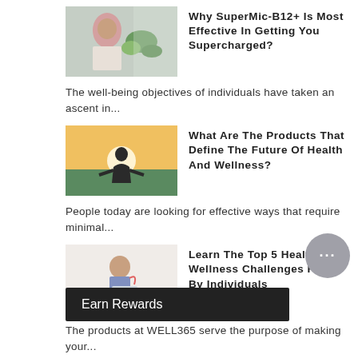[Figure (photo): Person with vegetables/healthy food]
Why SuperMic-B12+ Is Most Effective In Getting You Supercharged?
The well-being objectives of individuals have taken an ascent in...
[Figure (photo): Person meditating outdoors at sunset]
What Are The Products That Define The Future Of Health And Wellness?
People today are looking for effective ways that require minimal...
[Figure (photo): Elderly person with back pain using laptop]
Learn The Top 5 Health And Wellness Challenges Faced By Individuals
The products at WELL365 serve the purpose of making your...
[Figure (photo): Person exercising at home]
How To Get Started With Your Health And Wellness Journey At Home?
Lo... that thrive to bring real wellness